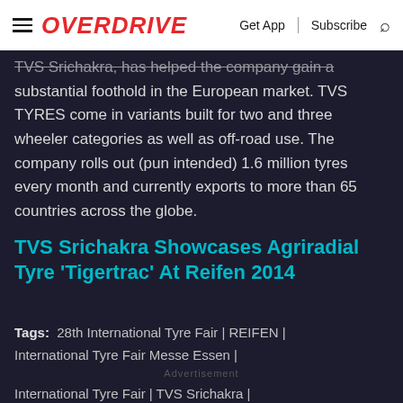OVERDRIVE | Get App | Subscribe
TVS Srichakra, has helped the company gain a substantial foothold in the European market. TVS TYRES come in variants built for two and three wheeler categories as well as off-road use. The company rolls out (pun intended) 1.6 million tyres every month and currently exports to more than 65 countries across the globe.
TVS Srichakra Showcases Agriradial Tyre 'Tigertrac' At Reifen 2014
Tags: 28th International Tyre Fair | REIFEN | International Tyre Fair Messe Essen | International Tyre Fair | TVS Srichakra | Agriradial tyre 'Tigertrac' | TVS Tyres | REIFEN 2014 |